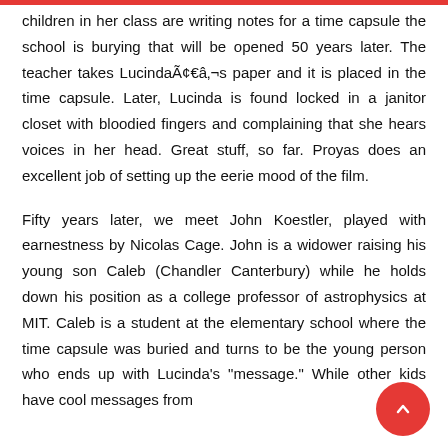children in her class are writing notes for a time capsule the school is burying that will be opened 50 years later. The teacher takes LucindaÃ¢€â‚¬s paper and it is placed in the time capsule. Later, Lucinda is found locked in a janitor closet with bloodied fingers and complaining that she hears voices in her head. Great stuff, so far. Proyas does an excellent job of setting up the eerie mood of the film.
Fifty years later, we meet John Koestler, played with earnestness by Nicolas Cage. John is a widower raising his young son Caleb (Chandler Canterbury) while he holds down his position as a college professor of astrophysics at MIT. Caleb is a student at the elementary school where the time capsule was buried and turns to be the young person who ends up with Lucinda's "message." While other kids have cool messages from